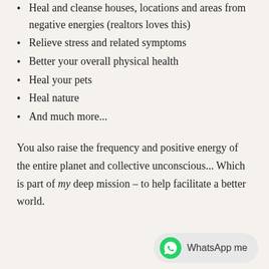Heal and cleanse houses, locations and areas from negative energies (realtors loves this)
Relieve stress and related symptoms
Better your overall physical health
Heal your pets
Heal nature
And much more...
You also raise the frequency and positive energy of the entire planet and collective unconscious... Which is part of my deep mission – to help facilitate a better world.